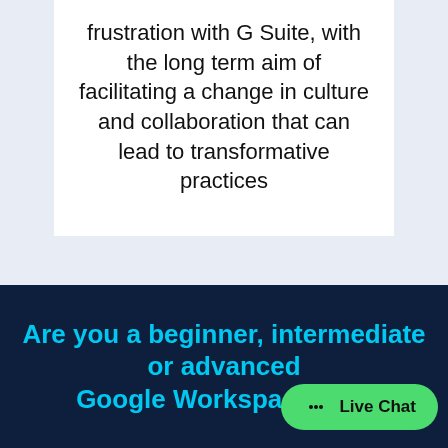frustration with G Suite, with the long term aim of facilitating a change in culture and collaboration that can lead to transformative practices
Are you a beginner, intermediate or advanced Google Workspace, O… Apple Tools user?